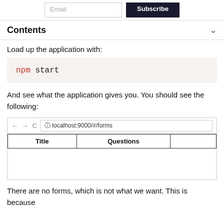Email | Subscribe
Contents
Load up the application with:
And see what the application gives you. You should see the following:
[Figure (screenshot): Browser screenshot showing localhost:9000/#/forms with a table header row containing Title, Questions columns]
There are no forms, which is not what we want. This is because